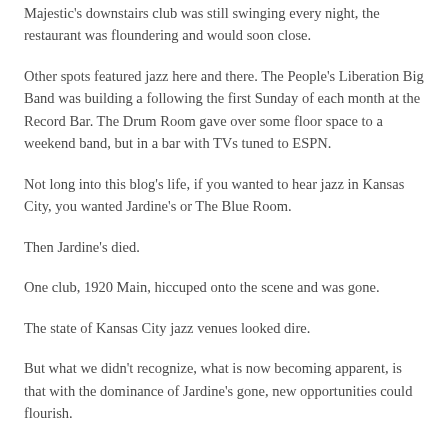Majestic's downstairs club was still swinging every night, the restaurant was floundering and would soon close.
Other spots featured jazz here and there. The People's Liberation Big Band was building a following the first Sunday of each month at the Record Bar. The Drum Room gave over some floor space to a weekend band, but in a bar with TVs tuned to ESPN.
Not long into this blog's life, if you wanted to hear jazz in Kansas City, you wanted Jardine's or The Blue Room.
Then Jardine's died.
One club, 1920 Main, hiccuped onto the scene and was gone.
The state of Kansas City jazz venues looked dire.
But what we didn't recognize, what is now becoming apparent, is that with the dominance of Jardine's gone, new opportunities could flourish.